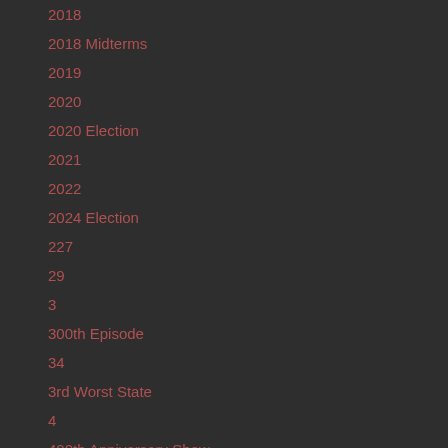2018
2018 Midterms
2019
2020
2020 Election
2021
2022
2024 Election
227
29
3
300th Episode
34
3rd Worst State
4
400th Anniversary Show
400th Show
450
476
479
494